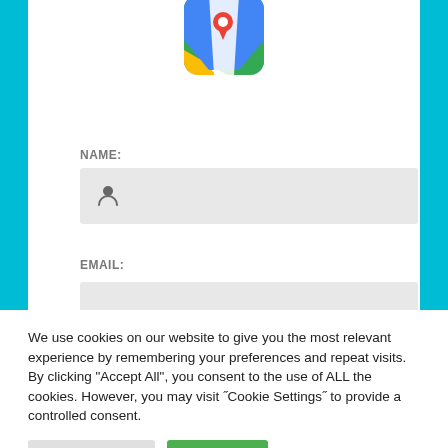[Figure (logo): Google Maps app icon — rounded square with blue background, yellow and green triangular shapes, and a red location pin]
NAME:
[Figure (other): Gray input field with a person/user icon on the left]
EMAIL:
[Figure (other): Gray input field for email]
We use cookies on our website to give you the most relevant experience by remembering your preferences and repeat visits. By clicking "Accept All", you consent to the use of ALL the cookies. However, you may visit ˝Cookie Settings˝ to provide a controlled consent.
Cookie Settings
Accept All